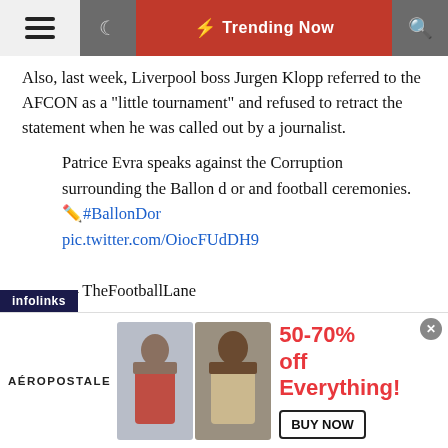Trending Now
Also, last week, Liverpool boss Jurgen Klopp referred to the AFCON as a “little tournament” and refused to retract the statement when he was called out by a journalist.
Patrice Evra speaks against the Corruption surrounding the Ballon d or and football ceremonies. ✏️#BallonDor pic.twitter.com/OiocFUdDH9
— TheFootballLane
Reacting to this, Evra said the AFCON deserves more respect, while suggesting Mendy should’ve won the Yashin Trophy.
[Figure (infographic): Aeropostale advertisement banner showing 50-70% off Everything with BUY NOW button and two models]